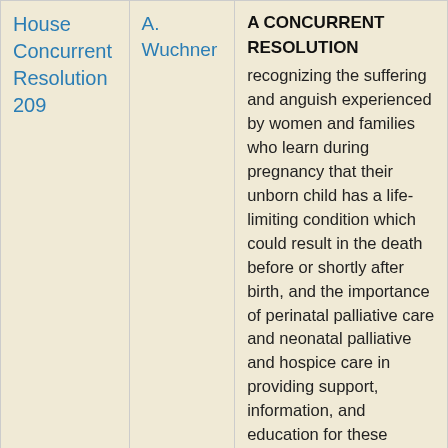| Bill | Sponsor | Description |
| --- | --- | --- |
| House Concurrent Resolution 209 | A. Wuchner | A CONCURRENT RESOLUTION recognizing the suffering and anguish experienced by women and families who learn during pregnancy that their unborn child has a life-limiting condition which could result in the death before or shortly after birth, and the importance of perinatal palliative care and neonatal palliative and hospice care in providing support, information, and education for these women and families. |